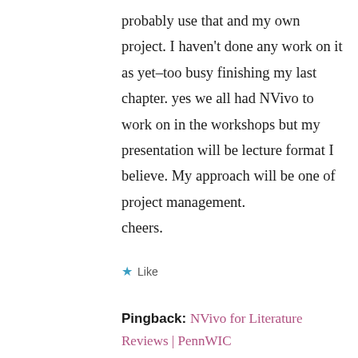probably use that and my own project. I haven't done any work on it as yet–too busy finishing my last chapter. yes we all had NVivo to work on in the workshops but my presentation will be lecture format I believe. My approach will be one of project management.
cheers.
★ Like
Pingback: NVivo for Literature Reviews | PennWIC